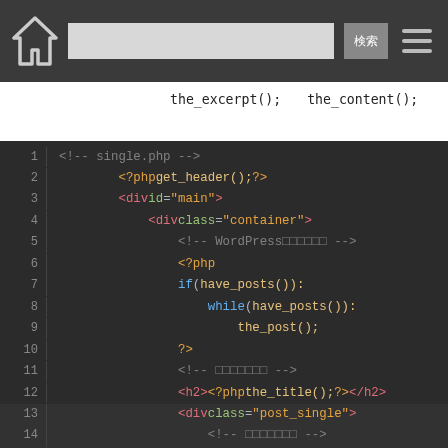Header navigation bar with home icon, search box, and menu icon
the_excerpt();　　the_content();
[Figure (screenshot): Syntax-highlighted PHP/HTML code block showing single.php template with WordPress loop, lines 1-16]